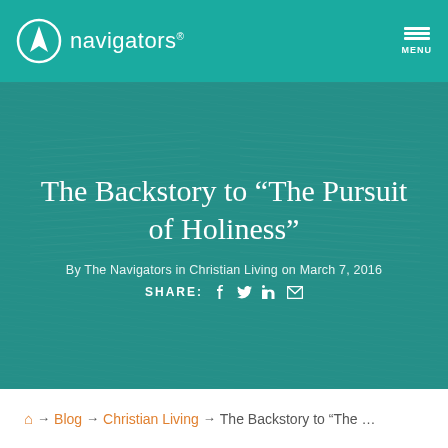navigators
[Figure (photo): Teal-tinted overhead photo of open Bible pages being held by hands, used as hero background image]
The Backstory to “The Pursuit of Holiness”
By The Navigators in Christian Living on March 7, 2016
SHARE: f  y  in  ✉
⌂ → Blog → Christian Living → The Backstory to “The …